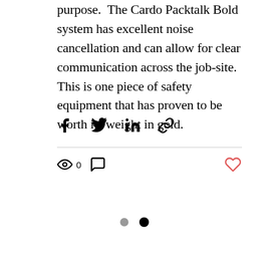purpose.  The Cardo Packtalk Bold system has excellent noise cancellation and can allow for clear communication across the job-site. This is one piece of safety equipment that has proven to be worth its weight in gold.
[Figure (infographic): Social share icons row: Facebook, Twitter, LinkedIn, and link/chain icon]
[Figure (infographic): Engagement stats bar: eye/views icon with count 0, comment bubble icon, and a red heart/like icon on the right]
[Figure (infographic): Pagination dots: gray dot and black dot indicating slide/page navigation]